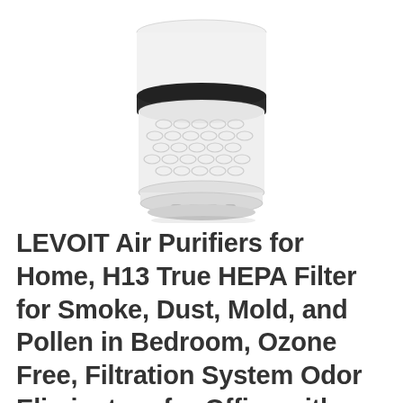[Figure (photo): A white cylindrical LEVOIT air purifier with a black band near the top and a latticed white filter body visible in the lower portion, shown from slightly above against a white background.]
LEVOIT Air Purifiers for Home, H13 True HEPA Filter for Smoke, Dust, Mold, and Pollen in Bedroom, Ozone Free, Filtration System Odor Eliminators for Office with Optional